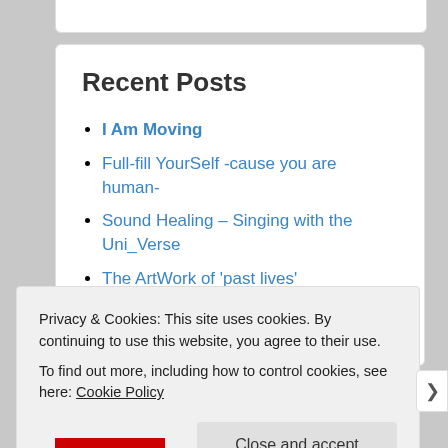Recent Posts
I Am Moving
Full-fill YourSelf -cause you are human-
Sound Healing – Singing with the Uni_Verse
The ArtWork of 'past lives'
Ask and you shall receive
Privacy & Cookies: This site uses cookies. By continuing to use this website, you agree to their use.
To find out more, including how to control cookies, see here: Cookie Policy
Close and accept